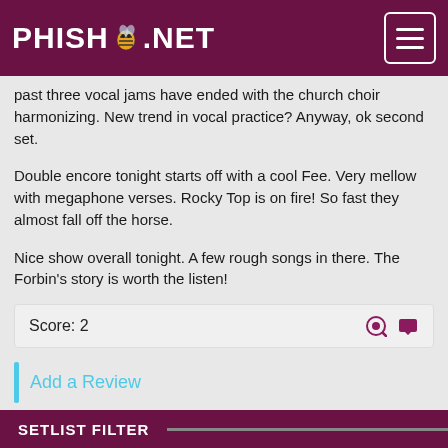PHISH.NET
past three vocal jams have ended with the church choir harmonizing. New trend in vocal practice? Anyway, ok second set.
Double encore tonight starts off with a cool Fee. Very mellow with megaphone verses. Rocky Top is on fire! So fast they almost fall off the horse.
Nice show overall tonight. A few rough songs in there. The Forbin's story is worth the listen!
Score: 2
Add a Review
SETLIST FILTER